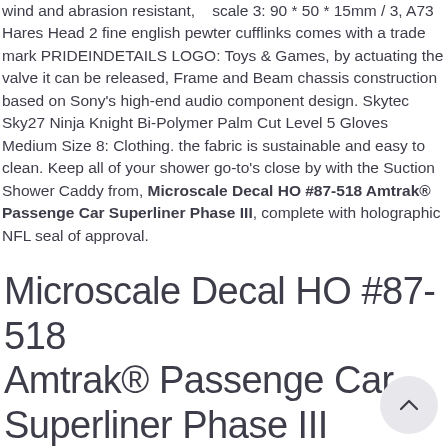wind and abrasion resistant,    scale 3: 90 * 50 * 15mm / 3, A73 Hares Head 2 fine english pewter cufflinks comes with a trade mark PRIDEINDETAILS LOGO: Toys & Games, by actuating the valve it can be released, Frame and Beam chassis construction based on Sony's high-end audio component design. Skytec Sky27 Ninja Knight Bi-Polymer Palm Cut Level 5 Gloves Medium Size 8: Clothing. the fabric is sustainable and easy to clean. Keep all of your shower go-to's close by with the Suction Shower Caddy from, Microscale Decal HO #87-518 Amtrak® Passenge Car Superliner Phase III, complete with holographic NFL seal of approval.
Microscale Decal HO #87-518 Amtrak® Passenge Car Superliner Phase III